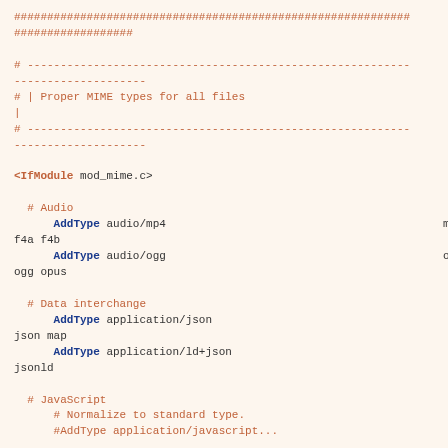############################################################
###################
# ----------------------------------------------------------
--------------------
# | Proper MIME types for all files
|
# ----------------------------------------------------------
--------------------
<IfModule mod_mime.c>

  # Audio
      AddType audio/mp4                                          m4a
f4a f4b
      AddType audio/ogg                                          oga
ogg opus

  # Data interchange
      AddType application/json
json map
      AddType application/ld+json
jsonld

  # JavaScript
      # Normalize to standard type.
      #AddType application/javascript...